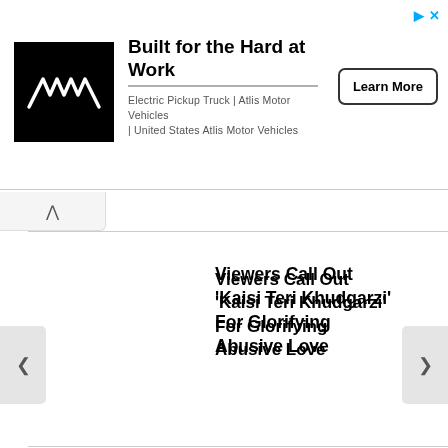[Figure (infographic): Advertisement banner for Atlis Motor Vehicles with logo, headline 'Built for the Hard at Work', subtitle 'Electric Pickup Truck | Atlis Motor Vehicles | United States Atlis Motor Vehicles', and a Learn More button]
Viewers Call Out ‘Kaisi Teri Khudgarzi’ For Glorifying Abusive Love
Quaid-e-Azam Zindabad Is Selling Out In Pirated On E-Com
Wahab Ali Bugti Shares His Update After Being Refuge